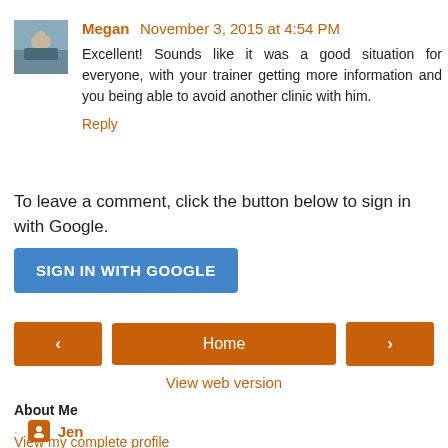Megan  November 3, 2015 at 4:54 PM
Excellent! Sounds like it was a good situation for everyone, with your trainer getting more information and you being able to avoid another clinic with him.
Reply
To leave a comment, click the button below to sign in with Google.
SIGN IN WITH GOOGLE
‹   Home   ›
View web version
About Me
Jen
View my complete profile